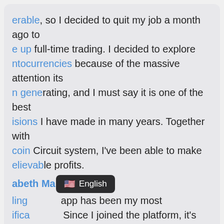erable, so I decided to quit my job a month ago to up full-time trading. I decided to explore tocurrencies because of the massive attention its n generating, and I must say it is one of the best isions I have made in many years. Together with oin Circuit system, I've been able to make elievable profits.

rst, it sounded too good to be true, but my life has n a turn for the better since plugging into the em. Plus, I have learned so much about asset ing in the shortest time, thanks to this fantastic ware.
abeth Makena
ling app has been my most ifica Since I joined the platform, it's